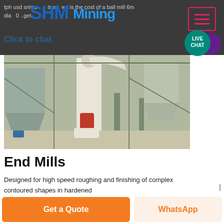tph usd srima... trust... what is the cost of a ball mill 6m dia... 0... ...get
[Figure (logo): SHM Mining logo with large blue bold letters S, H, M and Mining text in lighter blue]
Click to chat
[Figure (illustration): Live Chat speech bubble icon in teal/purple with text LIVE CHAT]
[Figure (photo): Industrial mining/milling facility interior showing large machinery, hoppers, vertical mill, and structural steel framework in a warehouse setting]
End Mills
Designed for high speed roughing and finishing of complex contoured shapes in hardened
Get a Quote
WhatsApp